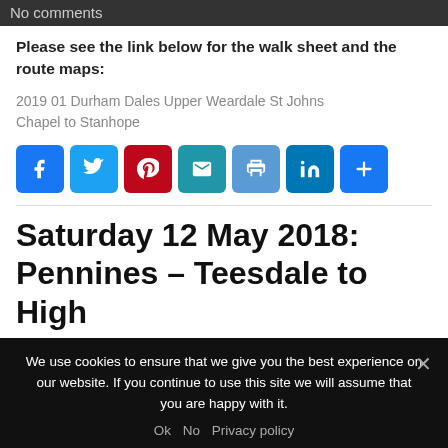No comments
Please see the link below for the walk sheet and the route maps:
2019 01 Durham Dales Upper Weardale St Johns Chapel to Stanhope
[Figure (infographic): Social sharing buttons: Facebook, Twitter, Pinterest, Email, Print, LinkedIn, More]
Saturday 12 May 2018: Pennines – Teesdale to High
We use cookies to ensure that we give you the best experience on our website. If you continue to use this site we will assume that you are happy with it. Ok No Privacy policy